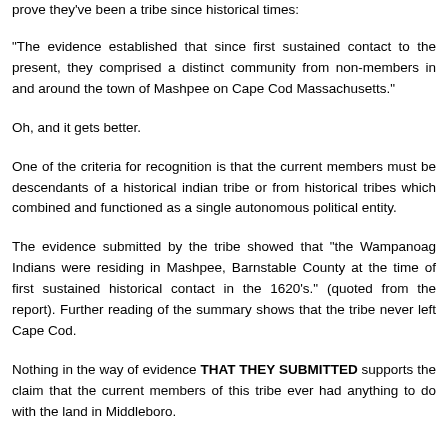prove they've been a tribe since historical times:
"The evidence established that since first sustained contact to the present, they comprised a distinct community from non-members in and around the town of Mashpee on Cape Cod Massachusetts."
Oh, and it gets better.
One of the criteria for recognition is that the current members must be descendants of a historical indian tribe or from historical tribes which combined and functioned as a single autonomous political entity.
The evidence submitted by the tribe showed that "the Wampanoag Indians were residing in Mashpee, Barnstable County at the time of first sustained historical contact in the 1620's." (quoted from the report). Further reading of the summary shows that the tribe never left Cape Cod.
Nothing in the way of evidence THAT THEY SUBMITTED supports the claim that the current members of this tribe ever had anything to do with the land in Middleboro.